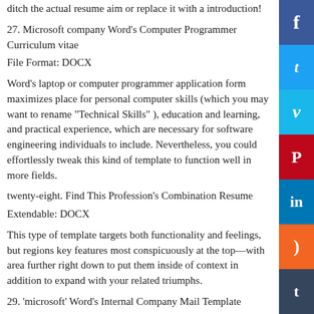ditch the actual resume aim or replace it with a introduction!
27. Microsoft company Word's Computer Programmer Curriculum vitae
File Format: DOCX
Word's laptop or computer programmer application form maximizes place for personal computer skills (which you may want to rename “Technical Skills” ), education and learning, and practical experience, which are necessary for software engineering individuals to include. Nevertheless, you could effortlessly tweak this kind of template to function well in more fields.
twenty-eight. Find This Profession's Combination Resume
Extendable: DOCX
This type of template targets both functionality and feelings, but regions key features most conspicuously at the top—with area further right down to put them inside of context in addition to expand with your related triumphs.
29. ‘microsoft’ Word’s Internal Company Mail Template